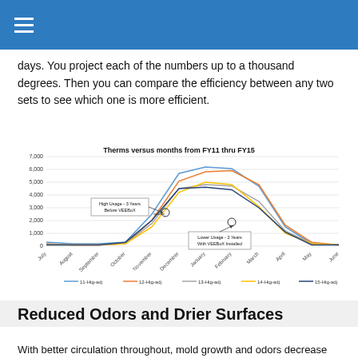☰
days. You project each of the numbers up to a thousand degrees. Then you can compare the efficiency between any two sets to see which one is more efficient.
[Figure (line-chart): Therms versus months from FY11 thru FY15]
Reduced Odors and Drier Surfaces
With better circulation throughout, mold growth and odors decrease